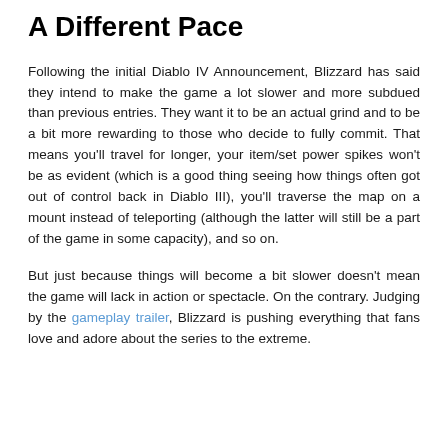A Different Pace
Following the initial Diablo IV Announcement, Blizzard has said they intend to make the game a lot slower and more subdued than previous entries. They want it to be an actual grind and to be a bit more rewarding to those who decide to fully commit. That means you'll travel for longer, your item/set power spikes won't be as evident (which is a good thing seeing how things often got out of control back in Diablo III), you'll traverse the map on a mount instead of teleporting (although the latter will still be a part of the game in some capacity), and so on.
But just because things will become a bit slower doesn't mean the game will lack in action or spectacle. On the contrary. Judging by the gameplay trailer, Blizzard is pushing everything that fans love and adore about the series to the extreme.